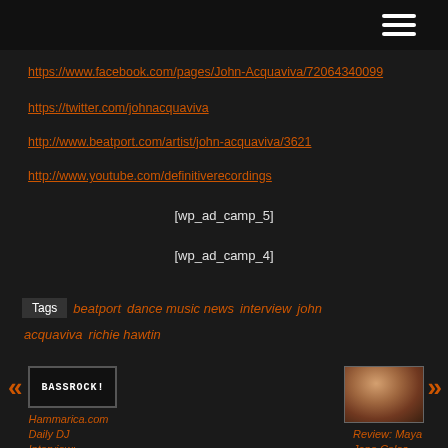https://www.facebook.com/pages/John-Acquaviva/72064340099
https://twitter.com/johnacquaviva
http://www.beatport.com/artist/john-acquaviva/3621
http://www.youtube.com/definitiverecordings
[wp_ad_camp_5]
[wp_ad_camp_4]
Tags  beatport  dance music news  interview  john acquaviva  richie hawtin
Hammarica.com Daily DJ Interview: BASSROCK!
Review: Maya Jane Coles – Easier To Find